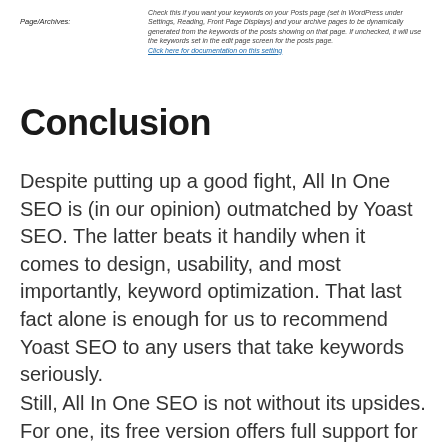Page/Archives: Check this if you want your keywords on your Posts page (set in WordPress under Settings, Reading, Front Page Displays) and your archive pages to be dynamically generated from the keywords of the posts showing on that page. If unchecked, it will use the keywords set in the edit page screen for the posts page. Click here for documentation on this setting
Conclusion
Despite putting up a good fight, All In One SEO is (in our opinion) outmatched by Yoast SEO. The latter beats it handily when it comes to design, usability, and most importantly, keyword optimization. That last fact alone is enough for us to recommend Yoast SEO to any users that take keywords seriously.
Still, All In One SEO is not without its upsides. For one, its free version offers full support for WooCommerce, and it has a